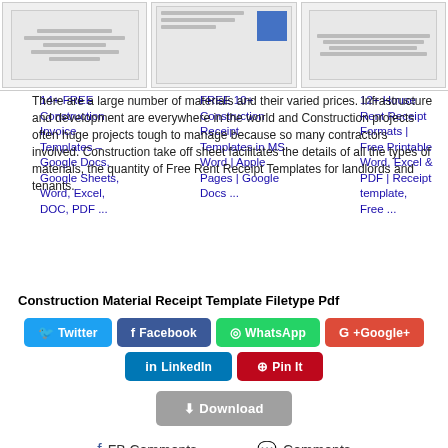[Figure (screenshot): Three thumbnail images of construction/receipt document templates shown side by side]
14+ FREE Construction Invoice Templates – Google Docs, Google Sheets, Word, Excel, DOC, PDF ...
FREE 10+ Construction Construction Receipt Templates in MS Word | Apple Pages | Google Docs ...
12+ House Rent Receipt Formats | Free Printable Word, Excel & PDF | Receipt template, Free ...
There are a large number of materials and their varied prices. Infrastructure and development are everywhere in the world and Construction projects often huge projects tough to manage because so many contractors involved. Construction take off sheet facilitates the details of all the types of materials, the quantity of Free Rent Receipt Templates for landlords and tenants.
Construction Material Receipt Template Filetype Pdf
Twitter Facebook WhatsApp Google+ LinkedIn Pin It
Download
FB Comments  Comments